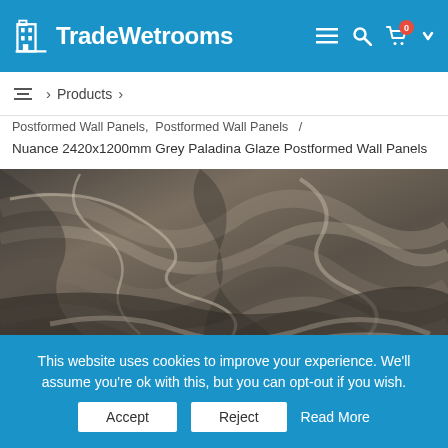TradeWetrooms
Products > Postformed Wall Panels, Postformed Wall Panels /
Nuance 2420x1200mm Grey Paladina Glaze Postformed Wall Panels
[Figure (photo): Close-up product photo of grey marbled stone-effect wall panel with swirling brown, grey and cream patterns — Nuance Grey Paladina Glaze Postformed Wall Panel]
This website uses cookies to improve your experience. We'll assume you're ok with this, but you can opt-out if you wish. Accept Reject Read More